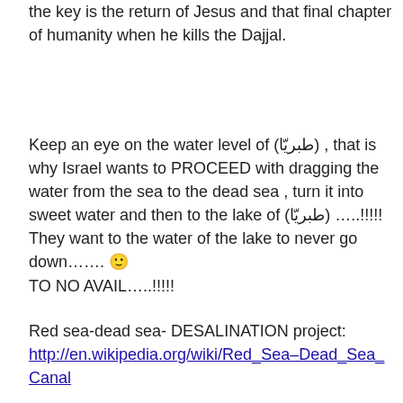the key is the return of Jesus and that final chapter of humanity when he kills the Dajjal.
Keep an eye on the water level of (طبريّا) , that is why Israel wants to PROCEED with dragging the water from the sea to the dead sea , turn it into sweet water and then to the lake of (طبريّا) …..!!!!!
They want to the water of the lake to never go down……. 🙂
TO NO AVAIL…..!!!!!
Red sea-dead sea- DESALINATION project:
http://en.wikipedia.org/wiki/Red_Sea–Dead_Sea_Canal
desalination projects will keep the water level in sea of Galilee up:
http://en.wikipedia.org/wiki/Red_Sea-